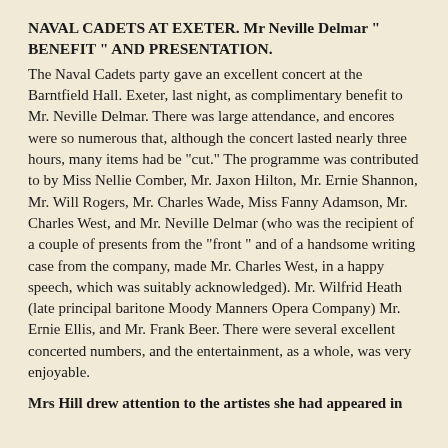NAVAL CADETS AT EXETER. Mr Neville Delmar " BENEFIT " AND PRESENTATION.
The Naval Cadets party gave an excellent concert at the Barntfield Hall. Exeter, last night, as complimentary benefit to Mr. Neville Delmar. There was large attendance, and encores were so numerous that, although the concert lasted nearly three hours, many items had be "cut." The programme was contributed to by Miss Nellie Comber, Mr. Jaxon Hilton, Mr. Ernie Shannon, Mr. Will Rogers, Mr. Charles Wade, Miss Fanny Adamson, Mr. Charles West, and Mr. Neville Delmar (who was the recipient of a couple of presents from the "front " and of a handsome writing case from the company, made Mr. Charles West, in a happy speech, which was suitably acknowledged). Mr. Wilfrid Heath (late principal baritone Moody Manners Opera Company) Mr. Ernie Ellis, and Mr. Frank Beer. There were several excellent concerted numbers, and the entertainment, as a whole, was very enjoyable.
Mrs Hill drew attention to the artistes she had appeared in